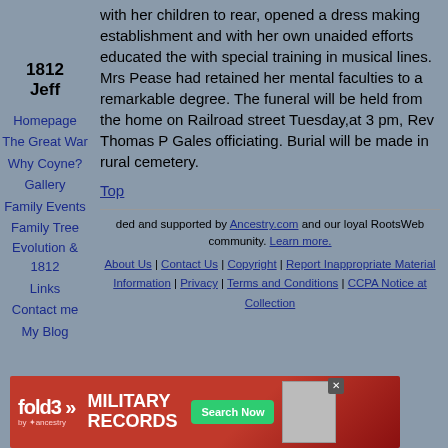1812
Jeff
Homepage
The Great War
Why Coyne?
Gallery
Family Events
Family Tree Evolution & 1812
Links
Contact me
My Blog
with her children to rear, opened a dress making establishment and with her own unaided efforts educated the with special training in musical lines. Mrs Pease had retained her mental faculties to a remarkable degree. The funeral will be held from the home on Railroad street Tuesday,at 3 pm, Rev Thomas P Gales officiating. Burial will be made in rural cemetery.
Top
ded and supported by Ancestry.com and our loyal RootsWeb community. Learn more.
About Us | Contact Us | Copyright | Report Inappropriate Material Information | Privacy | Terms and Conditions | CCPA Notice at Collection
[Figure (other): fold3 Military Records advertisement banner with Search Now button and photo of soldier]